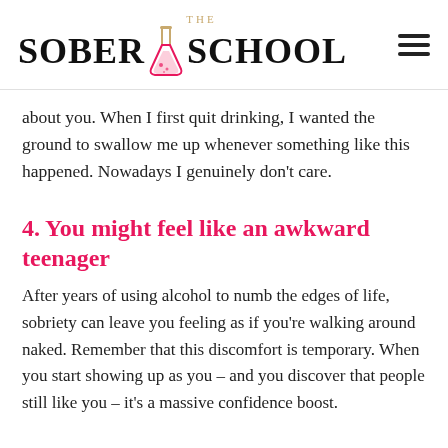THE SOBER SCHOOL
about you. When I first quit drinking, I wanted the ground to swallow me up whenever something like this happened. Nowadays I genuinely don't care.
4. You might feel like an awkward teenager
After years of using alcohol to numb the edges of life, sobriety can leave you feeling as if you're walking around naked. Remember that this discomfort is temporary. When you start showing up as you – and you discover that people still like you – it's a massive confidence boost.